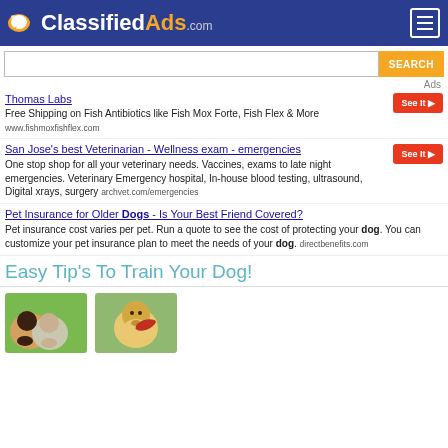ClassifiedAds.com
SEARCH
Ads
Thomas Labs
Free Shipping on Fish Antibiotics like Fish Mox Forte, Fish Flex & More
www.fishmoxfishflex.com
San Jose's best Veterinarian - Wellness exam - emergencies
One stop shop for all your veterinary needs. Vaccines, exams to late night emergencies. Veterinary Emergency hospital, In-house blood testing, ultrasound, Digital xrays, surgery
archvet.com/emergencies
Pet Insurance for Older Dogs - Is Your Best Friend Covered?
Pet insurance cost varies per pet. Run a quote to see the cost of protecting your dog. You can customize your pet insurance plan to meet the needs of your dog.
directbenefits.com
Easy Tip's To Train Your Dog!
[Figure (photo): Two dogs (a dark dog and a light dog) sitting in green grass]
[Figure (photo): A golden/yellow Labrador dog holding a red rose in its mouth]